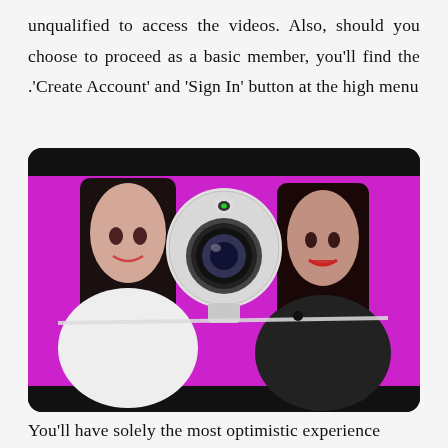unqualified to access the videos. Also, should you choose to proceed as a basic member, you'll find the .'Create Account' and 'Sign In' button at the high menu
[Figure (photo): Two women posing with a large webcam/360 camera in the center against a magenta/pink background. The woman on the left has long dark hair and wears a white blouse, holding a stylus or pen. The woman on the right has long dark hair and wears a black outfit, smiling at the camera.]
You'll have solely the most optimistic experience